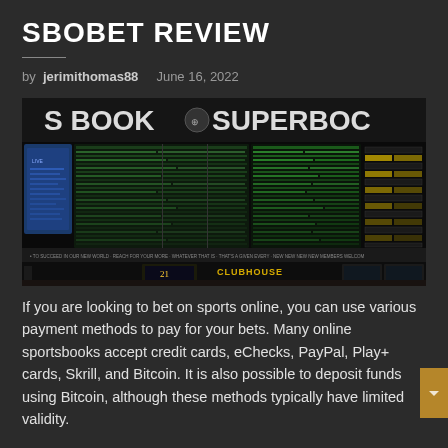SBOBET REVIEW
by jerimithomas88   June 16, 2022
[Figure (photo): A large sports betting board display (Superbook/Clubhouse) showing numerous games and odds on illuminated LED screens in a dark sportsbook environment.]
If you are looking to bet on sports online, you can use various payment methods to pay for your bets. Many online sportsbooks accept credit cards, eChecks, PayPal, Play+ cards, Skrill, and Bitcoin. It is also possible to deposit funds using Bitcoin, although these methods typically have limited validity.